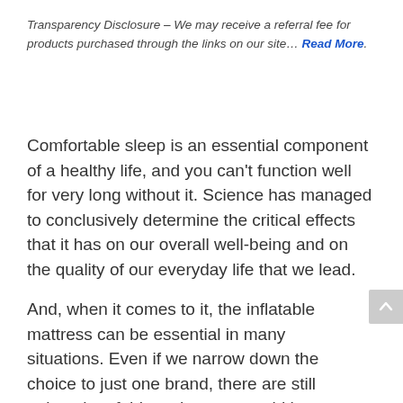Transparency Disclosure – We may receive a referral fee for products purchased through the links on our site… Read More.
Comfortable sleep is an essential component of a healthy life, and you can't function well for very long without it. Science has managed to conclusively determine the critical effects that it has on our overall well-being and on the quality of our everyday life that we lead.
And, when it comes to it, the inflatable mattress can be essential in many situations. Even if we narrow down the choice to just one brand, there are still quite a lot of things that you would have to account for. There is a tremendous amount of characteristics that